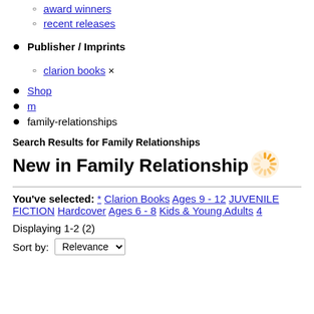award winners
recent releases
Publisher / Imprints
clarion books ×
Shop
m
family-relationships
Search Results for Family Relationships
New in Family Relationships
You've selected: * Clarion Books Ages 9 - 12 JUVENILE FICTION Hardcover Ages 6 - 8 Kids & Young Adults 4
Displaying 1-2 (2)
Sort by: Relevance